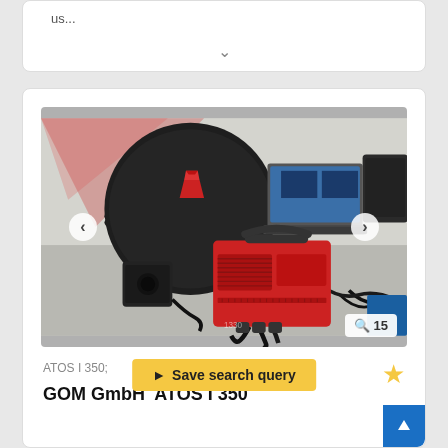us...
[Figure (photo): ATOS I 350 3D scanner by GOM GmbH on a desk with a laptop and calibration target. Red scanner unit with two camera arms, cables, and a black circular turntable with a red 3D-printed calibration object.]
ATOS I 350;
Save search query
GOM GmbH  ATOS I 350